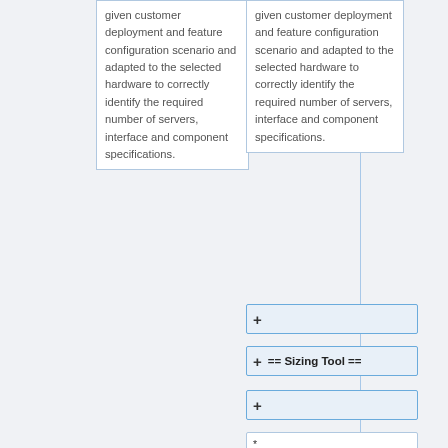given customer deployment and feature configuration scenario and adapted to the selected hardware to correctly identify the required number of servers, interface and component specifications.
given customer deployment and feature configuration scenario and adapted to the selected hardware to correctly identify the required number of servers, interface and component specifications.
+
== Sizing Tool ==
+
* [http://gigaflowsupport.viavisolutions.com/manual/GigaFlow/1009b...